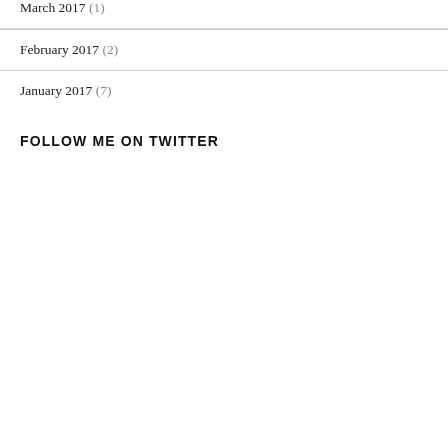March 2017 (1)
February 2017 (2)
January 2017 (7)
FOLLOW ME ON TWITTER